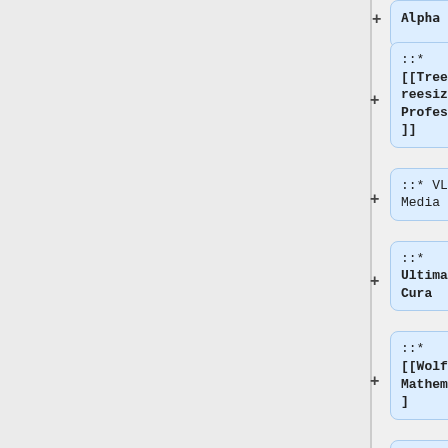::* [[Treesize|Treesize Professional]]
::* VLC Media Player
::* Ultimaker Cura
::* [[Wolfram Mathematica]]
::* [[YuJa]] Software Capture